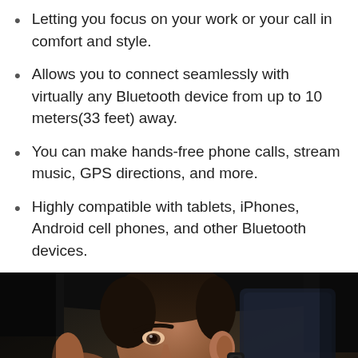Letting you focus on your work or your call in comfort and style.
Allows you to connect seamlessly with virtually any Bluetooth device from up to 10 meters(33 feet) away.
You can make hands-free phone calls, stream music, GPS directions, and more.
Highly compatible with tablets, iPhones, Android cell phones, and other Bluetooth devices.
[Figure (photo): A man wearing a Bluetooth earpiece in a car, side profile view close-up of his face and ear with the earpiece visible.]